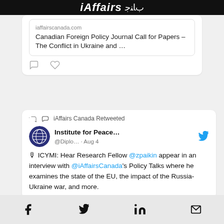iAffairs ﺏﺎﻨﺟ
iaffairscanada.com
Canadian Foreign Policy Journal Call for Papers – The Conflict in Ukraine and …
iAffairs Canada Retweeted
Institute for Peace... @Diplo... · Aug 4
🎙 ICYMI: Hear Research Fellow @zpaikin appear in an interview with @iAffairsCanada's Policy Talks where he examines the state of the EU, the impact of the Russia-Ukraine war, and more.
Facebook  Twitter  LinkedIn  Email